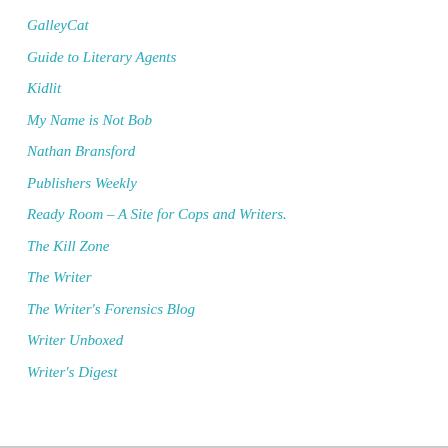GalleyCat
Guide to Literary Agents
Kidlit
My Name is Not Bob
Nathan Bransford
Publishers Weekly
Ready Room – A Site for Cops and Writers.
The Kill Zone
The Writer
The Writer's Forensics Blog
Writer Unboxed
Writer's Digest